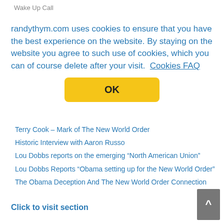Wake Up Call
randythym.com uses cookies to ensure that you have the best experience on the website. By staying on the website you agree to such use of cookies, which you can of course delete after your visit.  Cookies FAQ
OK
Terry Cook – Mark of The New World Order
Historic Interview with Aaron Russo
Lou Dobbs reports on the emerging "North American Union"
Lou Dobbs Reports "Obama setting up for the New World Order"
The Obama Deception And The New World Order Connection
Click to visit section